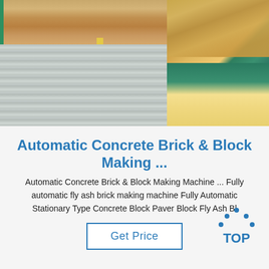[Figure (photo): Two-part photo: left side shows stacked metal/steel sheets in a warehouse with wooden pallets and green padding; right side shows packaged/wrapped goods in cardboard and plastic in a warehouse setting.]
Automatic Concrete Brick & Block Making ...
Automatic Concrete Brick & Block Making Machine ... Fully automatic fly ash brick making machine Fully Automatic Stationary Type Concrete Block Paver Block Fly Ash Bl
[Figure (logo): TOP logo — blue dots forming a triangle/arc above the word TOP in blue bold letters]
Get Price